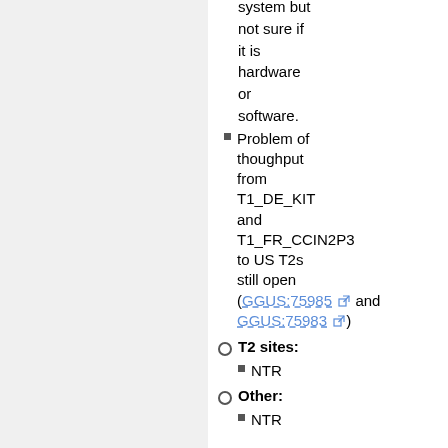system but not sure if it is hardware or software.
Problem of thoughput from T1_DE_KIT and T1_FR_CCIN2P3 to US T2s still open (GGUS:75985 and GGUS:75983)
T2 sites:
NTR
Other:
NTR